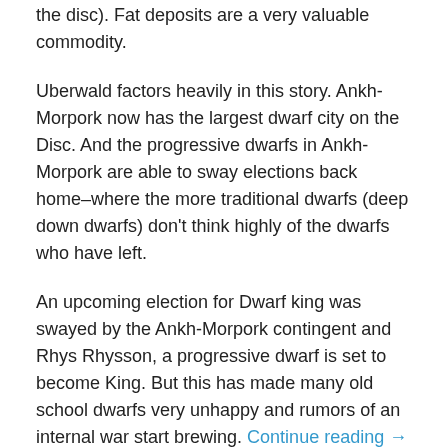the disc).  Fat deposits are a very valuable commodity.
Uberwald factors heavily in this story.  Ankh-Morpork now has the largest dwarf city on the Disc.  And the progressive dwarfs in Ankh-Morpork are able to sway elections back home–where the more traditional dwarfs (deep down dwarfs) don't think highly of the dwarfs who have left.
An upcoming election for Dwarf king was swayed by the Ankh-Morpork contingent and Rhys Rhysson, a progressive dwarf is set to become King.  But this has made many old school dwarfs very unhappy and rumors of an internal war start brewing. Continue reading →
Share this: